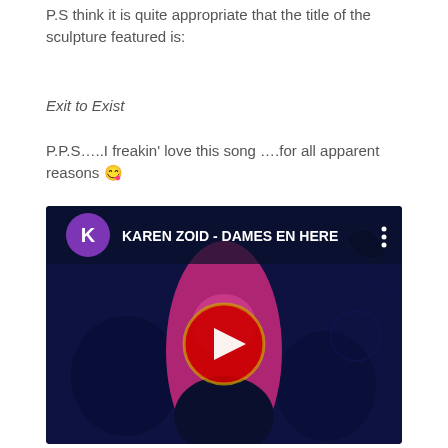P.S think it is quite appropriate that the title of the sculpture featured is:
Exit to Exist
P.P.S…..I freakin' love this song ….for all apparent reasons 😉
[Figure (screenshot): YouTube video thumbnail showing Karen Zoid - Dames En Here. A woman with bright pink/magenta hair against a dark blue background with a red YouTube play button in the center. The video header shows a purple circle with letter K and the title KAREN ZOID - DAMES EN HERE.]